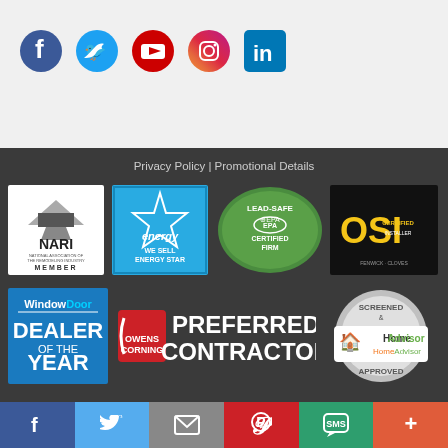[Figure (logo): Row of social media icons: Facebook, Twitter, YouTube, Instagram, LinkedIn]
Privacy Policy | Promotional Details
[Figure (logo): NARI – National Association of the Remodeling Industry Member badge]
[Figure (logo): Energy Star – We Sell Energy Star badge]
[Figure (logo): Lead-Safe EPA Certified Firm badge]
[Figure (logo): OSI Certified Installer badge]
[Figure (logo): WindowDoor Dealer of the Year badge]
[Figure (logo): Owens Corning Preferred Contractor badge]
[Figure (logo): HomeAdvisor Screened & Approved badge]
[Figure (logo): Bottom social share bar: Facebook, Twitter, Email, Pinterest, SMS, More]